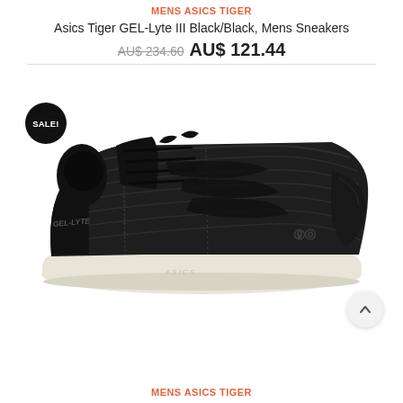MENS ASICS TIGER
Asics Tiger GEL-Lyte III Black/Black, Mens Sneakers
AU$ 234.60 AU$ 121.44
[Figure (photo): Black Asics Tiger GEL-Lyte III sneaker shown from the side, featuring a dark textured upper with white sole, laces, and a SALE! badge overlay in the top-left corner. A scroll-up button is visible in the bottom-right corner.]
MENS ASICS TIGER